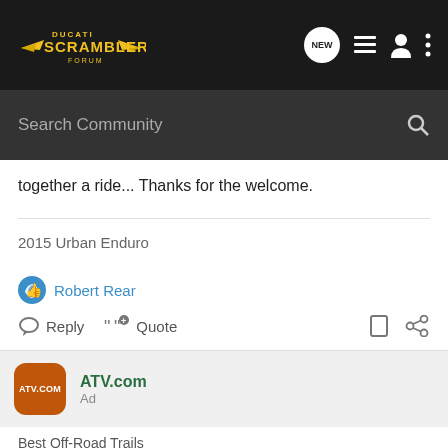Ducati Scrambler Forum
together a ride... Thanks for the welcome.
2015 Urban Enduro
Robert Rear
Reply  Quote
[Figure (screenshot): ATV.com ad with orange rounded square logo]
ATV.com
Ad
Best Off-Road Trails
We did the research and found the best ATV and UTV trails in all 50 states.